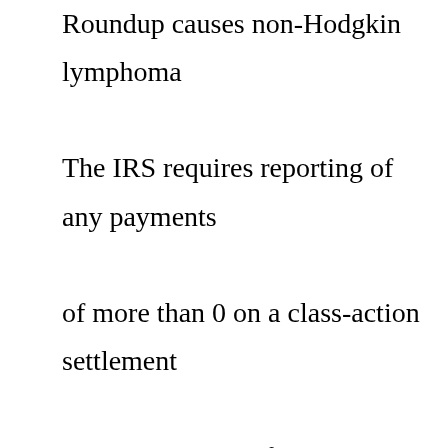Roundup causes non-Hodgkin lymphoma The IRS requires reporting of any payments of more than 0 on a class-action settlement on a 1099-MISC, for miscellaneous income A $39,550,000 settlement has been reached in a Roundup ® Weed & Grass Killer class action lawsuit alleging that labeling on certain Roundup® Weed & Grass Killer products are false and misleading 65% July 26, 2019 Authored by: Curtis Weyant Tagged: Bayer, Cancer, Monsanto, Roundup